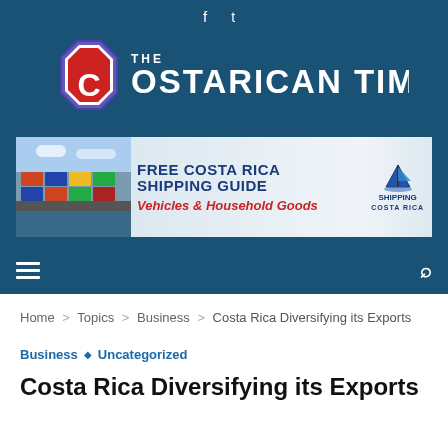f  y
[Figure (logo): The Costarican Times logo — octagonal emblem with red C on white/blue background, with 'THE COSTARICAN TIMES' text in white on dark blue]
[Figure (infographic): Banner advertisement: FREE COSTA RICA SHIPPING GUIDE, Vehicles & Household Goods, Shipping Costa Rica logo. Left side shows shipping containers photo.]
Home > Topics > Business > Costa Rica Diversifying its Exports
Business  ◇  Uncategorized
Costa Rica Diversifying its Exports